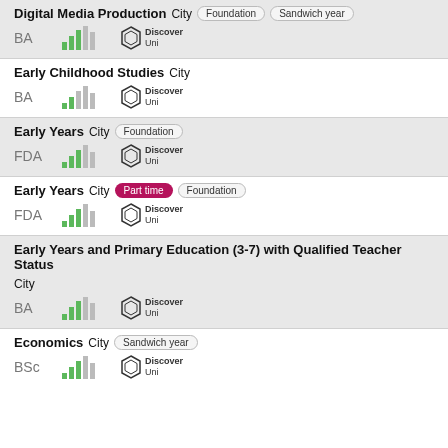Digital Media Production City [Foundation] [Sandwich year]
BA
Early Childhood Studies City
BA
Early Years City [Foundation]
FDA
Early Years City [Part time] [Foundation]
FDA
Early Years and Primary Education (3-7) with Qualified Teacher Status City
BA
Economics City [Sandwich year]
BSc